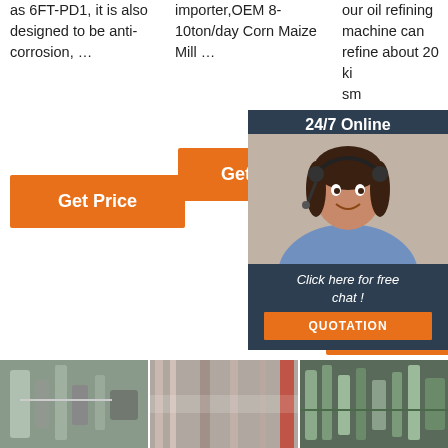as 6FT-PD1, it is also designed to be anti-corrosion, …
importer,OEM 8-10ton/day Corn Maize Mill …
our oil refining machine can refine about 20 ki… sm… pr… or Le… M… Co…
Get Price
Get Price
[Figure (screenshot): Live chat widget overlay showing a customer service representative wearing a headset, with dark background, '24/7 Online' header, 'Click here for free chat!' text, and an orange QUOTATION button]
Get Price
[Figure (other): Orange TOP button with dot pattern above it]
[Figure (photo): Industrial machinery photo 1 - pipe/tube milling equipment]
[Figure (photo): Industrial machinery photo 2 - grain mill interior]
[Figure (photo): Industrial machinery photo 3 - grain mill pipes and equipment]